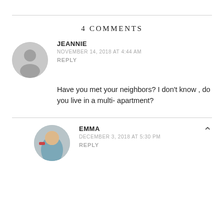4 COMMENTS
JEANNIE
NOVEMBER 14, 2018 AT 4:44 AM
REPLY
Have you met your neighbors? I don't know , do you live in a multi- apartment?
EMMA
DECEMBER 3, 2018 AT 5:30 PM
REPLY